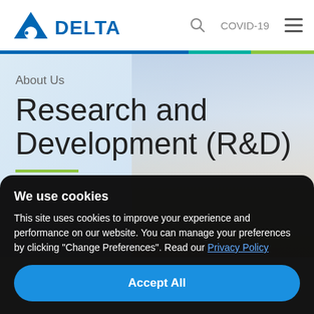[Figure (logo): Delta Electronics logo with blue triangle/arrow icon and DELTA text in blue]
COVID-19
[Figure (photo): Hero background image of city skyline with modern skyscrapers, warm golden light on right side]
About Us
Research and Development (R&D)
We use cookies
This site uses cookies to improve your experience and performance on our website. You can manage your preferences by clicking "Change Preferences". Read our Privacy Policy
Accept All